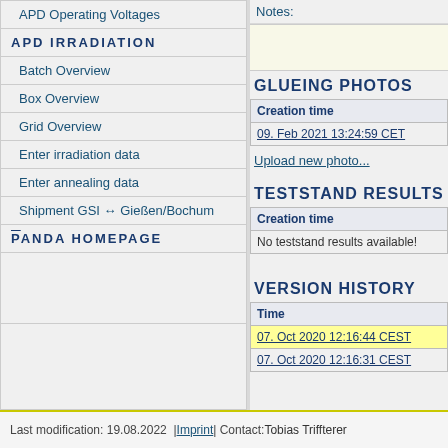APD Operating Voltages
APD IRRADIATION
Batch Overview
Box Overview
Grid Overview
Enter irradiation data
Enter annealing data
Shipment GSI ↔ Gießen/Bochum
PANDA HOMEPAGE
Notes:
GLUEING PHOTOS
| Creation time |
| --- |
| 09. Feb 2021 13:24:59 CET |
Upload new photo...
TESTSTAND RESULTS
| Creation time |
| --- |
| No teststand results available! |
VERSION HISTORY
| Time |
| --- |
| 07. Oct 2020 12:16:44 CEST |
| 07. Oct 2020 12:16:31 CEST |
Last modification: 19.08.2022  | Imprint | Contact: Tobias Triffterer